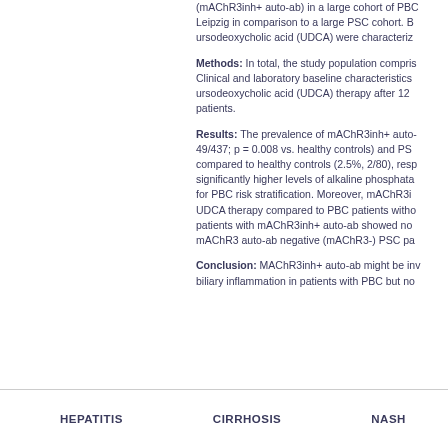(mAChR3inh+ auto-ab) in a large cohort of PBC patients from Leipzig in comparison to a large PSC cohort. Both cohorts treated with ursodeoxycholic acid (UDCA) were characterized.
Methods: In total, the study population comprises ... Clinical and laboratory baseline characteristics ... ursodeoxycholic acid (UDCA) therapy after 12 ... patients.
Results: The prevalence of mAChR3inh+ auto- ... 49/437; p = 0.008 vs. healthy controls) and PS... compared to healthy controls (2.5%, 2/80), resp... significantly higher levels of alkaline phosphata... for PBC risk stratification. Moreover, mAChR3i... UDCA therapy compared to PBC patients witho... patients with mAChR3inh+ auto-ab showed no... mAChR3 auto-ab negative (mAChR3-) PSC pa...
Conclusion: MAChR3inh+ auto-ab might be inv... biliary inflammation in patients with PBC but no...
HEPATITIS   CIRRHOSIS   NASH   CH...